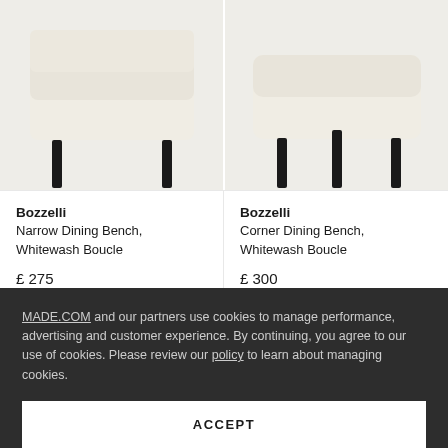[Figure (photo): Bozzelli Narrow Dining Bench in Whitewash Boucle fabric with black legs, viewed from front-bottom angle]
[Figure (photo): Bozzelli Corner Dining Bench in Whitewash Boucle fabric with black legs, viewed from front-bottom angle]
Bozzelli
Narrow Dining Bench,
Whitewash Boucle
£ 275
Bozzelli
Corner Dining Bench,
Whitewash Boucle
£ 300
MADE.COM and our partners use cookies to manage performance, advertising and customer experience. By continuing, you agree to our use of cookies. Please review our policy to learn about managing cookies.
ACCEPT